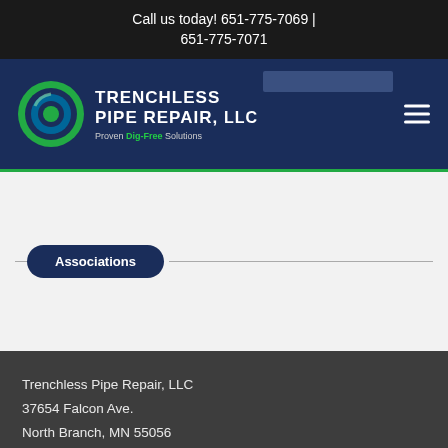Call us today! 651-775-7069 | 651-775-7071
[Figure (logo): Trenchless Pipe Repair, LLC logo with circular pipe graphic and text 'Proven Dig-Free Solutions']
Associations
Trenchless Pipe Repair, LLC
37654 Falcon Ave.
North Branch, MN 55056
Phone: 651-775-7069/651-775-7071
Email: digfree@aol.com